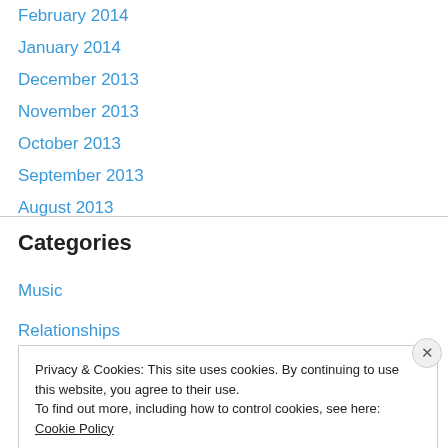February 2014
January 2014
December 2013
November 2013
October 2013
September 2013
August 2013
Categories
Music
Relationships
Privacy & Cookies: This site uses cookies. By continuing to use this website, you agree to their use.
To find out more, including how to control cookies, see here: Cookie Policy